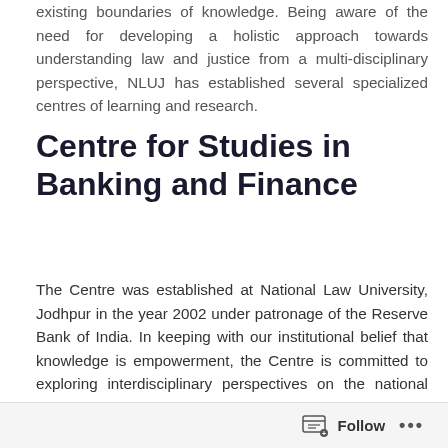existing boundaries of knowledge. Being aware of the need for developing a holistic approach towards understanding law and justice from a multi-disciplinary perspective, NLUJ has established several specialized centres of learning and research.
Centre for Studies in Banking and Finance
The Centre was established at National Law University, Jodhpur in the year 2002 under patronage of the Reserve Bank of India. In keeping with our institutional belief that knowledge is empowerment, the Centre is committed to exploring interdisciplinary perspectives on the national and international legal order and to
Follow ...